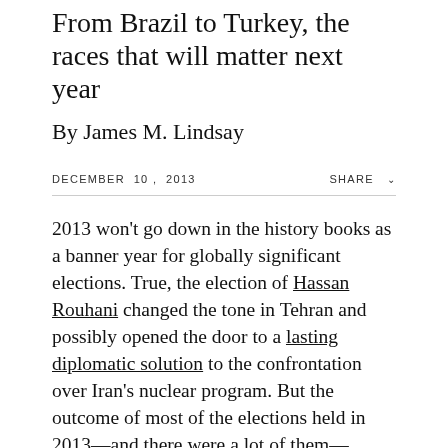From Brazil to Turkey, the races that will matter next year
By James M. Lindsay
DECEMBER 10, 2013
SHARE
2013 won't go down in the history books as a banner year for globally significant elections. True, the election of Hassan Rouhani changed the tone in Tehran and possibly opened the door to a lasting diplomatic solution to the confrontation over Iran's nuclear program. But the outcome of most of the elections held in 2013—and there were a lot of them—mattered primarily to the people who cast